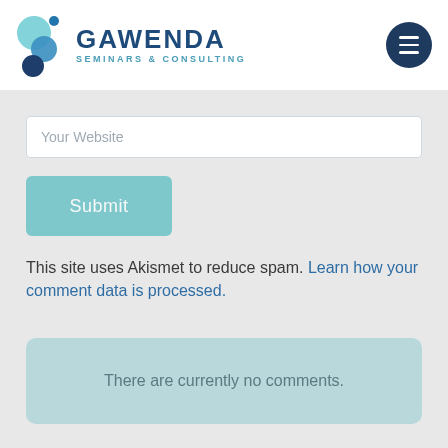[Figure (logo): Gawenda Seminars & Consulting logo with teal/blue bubble graphic and text]
Your Website
Submit
This site uses Akismet to reduce spam. Learn how your comment data is processed.
There are currently no comments.